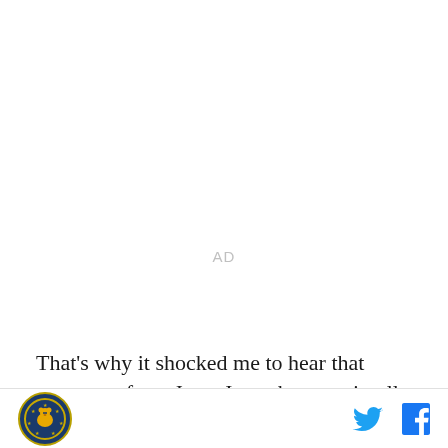AD
That's why it shocked me to hear that statement from Jerry Jones because it tells me he didn't think his team could win. Not would - with a W - win. Could - with a C. The former is just a decision made on comparing two
Logo | Twitter | Facebook